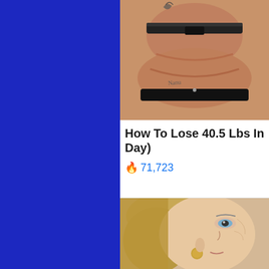[Figure (photo): Blue sidebar on the left side of the page]
[Figure (photo): Photo of a person's back showing skin and black bra strap with tattoos, cropped torso view]
How To Lose 40.5 Lbs In Day)
🔥 71,723
[Figure (photo): Close-up photo of a woman's face with blonde hair and gold earring]